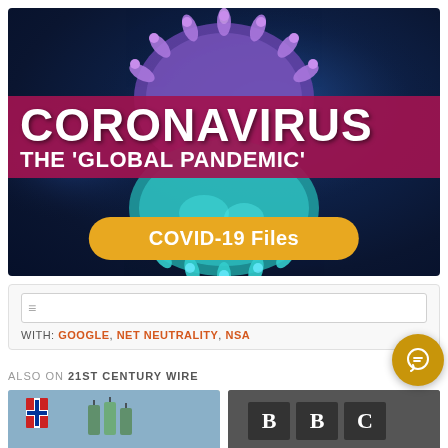[Figure (illustration): Coronavirus 3D illustration image on dark blue background with text overlay: 'CORONAVIRUS THE 'GLOBAL PANDEMIC'' on a crimson banner and a golden 'COVID-19 Files' button at the bottom]
WITH: GOOGLE, NET NEUTRALITY, NSA
ALSO ON 21ST CENTURY WIRE
[Figure (photo): Norwegian flags and green shopping bags thumbnail]
[Figure (photo): BBC logo sign thumbnail]